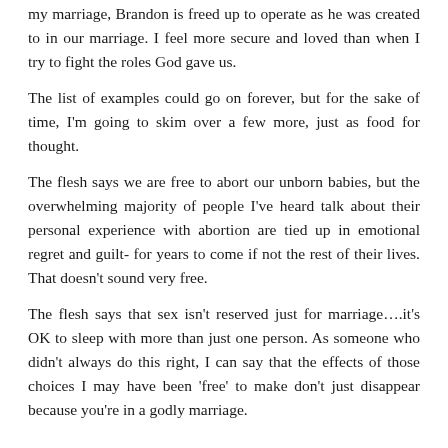my marriage, Brandon is freed up to operate as he was created to in our marriage. I feel more secure and loved than when I try to fight the roles God gave us.
The list of examples could go on forever, but for the sake of time, I'm going to skim over a few more, just as food for thought.
The flesh says we are free to abort our unborn babies, but the overwhelming majority of people I've heard talk about their personal experience with abortion are tied up in emotional regret and guilt- for years to come if not the rest of their lives. That doesn't sound very free.
The flesh says that sex isn't reserved just for marriage….it's OK to sleep with more than just one person. As someone who didn't always do this right, I can say that the effects of those choices I may have been 'free' to make don't just disappear because you're in a godly marriage.